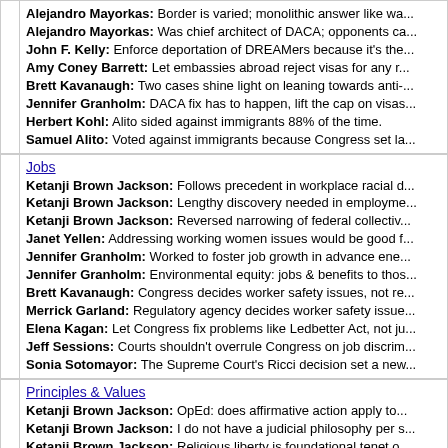Alejandro Mayorkas: Border is varied; monolithic answer like wa...
Alejandro Mayorkas: Was chief architect of DACA; opponents ca...
John F. Kelly: Enforce deportation of DREAMers because it's the...
Amy Coney Barrett: Let embassies abroad reject visas for any r...
Brett Kavanaugh: Two cases shine light on leaning towards anti-...
Jennifer Granholm: DACA fix has to happen, lift the cap on visas...
Herbert Kohl: Alito sided against immigrants 88% of the time.
Samuel Alito: Voted against immigrants because Congress set la...
Jobs
Ketanji Brown Jackson: Follows precedent in workplace racial d...
Ketanji Brown Jackson: Lengthy discovery needed in employme...
Ketanji Brown Jackson: Reversed narrowing of federal collectiv...
Janet Yellen: Addressing working women issues would be good f...
Jennifer Granholm: Worked to foster job growth in advance ene...
Jennifer Granholm: Environmental equity: jobs & benefits to thos...
Brett Kavanaugh: Congress decides worker safety issues, not re...
Merrick Garland: Regulatory agency decides worker safety issue...
Elena Kagan: Let Congress fix problems like Ledbetter Act, not ju...
Jeff Sessions: Courts shouldn't overrule Congress on job discrim...
Sonia Sotomayor: The Supreme Court's Ricci decision set a new...
Principles & Values
Ketanji Brown Jackson: OpEd: does affirmative action apply to...
Ketanji Brown Jackson: I do not have a judicial philosophy per s...
Ketanji Brown Jackson: Religious liberty is foundational tenet o...
Joe Donnelly: Irish Catholic faith deeply important.
Joe Donnelly: Appointed as U.S. Ambassador to the Holy See.
Rahm Emanuel: OpEd: Foul-mouthed, sharp-elbowed, impudent...
Jeff Flake: Impeachment: we didn't convict Trump. We should ha...
Tom Udall: Work across the aisle; build relationships and coalitio...
Eric Garcetti: First Jewish mayor of Los Angeles since 1878.